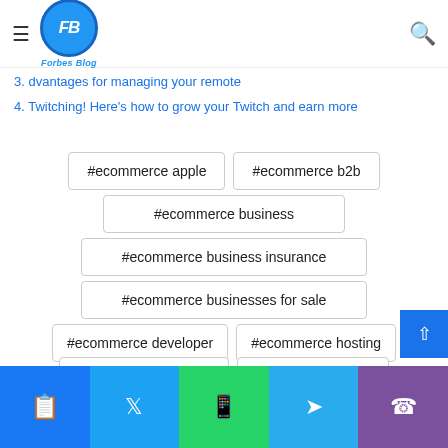Forbes Blog
3. advantages for managing your remote
4. Twitching! Here's how to grow your Twitch and earn more
#ecommerce apple
#ecommerce b2b
#ecommerce business
#ecommerce business insurance
#ecommerce businesses for sale
#ecommerce developer
#ecommerce hosting
#ecommerce platform
#ecommerce saas
Facebook Twitter WhatsApp Telegram Viber